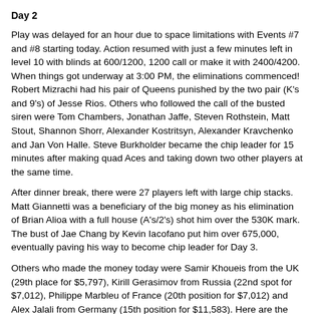Day 2
Play was delayed for an hour due to space limitations with Events #7 and #8 starting today. Action resumed with just a few minutes left in level 10 with blinds at 600/1200, 1200 call or make it with 2400/4200. When things got underway at 3:00 PM, the eliminations commenced! Robert Mizrachi had his pair of Queens punished by the two pair (K's and 9's) of Jesse Rios. Others who followed the call of the busted siren were Tom Chambers, Jonathan Jaffe, Steven Rothstein, Matt Stout, Shannon Shorr, Alexander Kostritsyn, Alexander Kravchenko and Jan Von Halle. Steve Burkholder became the chip leader for 15 minutes after making quad Aces and taking down two other players at the same time.
After dinner break, there were 27 players left with large chip stacks. Matt Giannetti was a beneficiary of the big money as his elimination of Brian Alioa with a full house (A's/2's) shot him over the 530K mark. The bust of Jae Chang by Kevin Iacofano put him over 675,000, eventually paving his way to become chip leader for Day 3.
Others who made the money today were Samir Khoueis from the UK (29th place for $5,797), Kirill Gerasimov from Russia (22nd spot for $7,012), Philippe Marbleu of France (20th position for $7,012) and Alex Jalali from Germany (15th position for $11,583). Here are the final table players with chip counts:
1. Kevin Iacofano -- 770,000
2. Jonathan Tare -- 639,000
3. Van An Tran -- 435,000
4. Jason Mercier -- 384,400
5. Victa Park -- 341,000